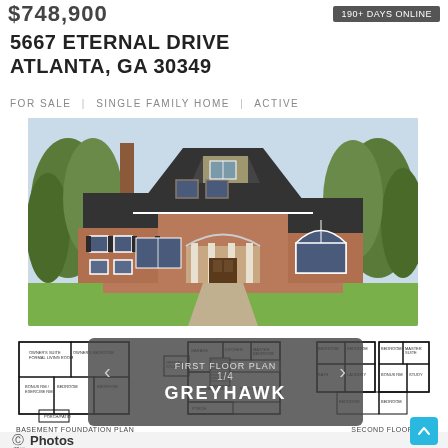$748,900
190+ Days Online
5667 ETERNAL DRIVE ATLANTA, GA 30349
FOR SALE  |  SINGLE FAMILY HOME  |  ACTIVE
[Figure (photo): Two-story brick house with dark roof, white trim, arched windows, covered entry porch with columns, surrounded by trees]
[Figure (engineering-diagram): Three floor plan diagrams: Basement Foundation Plan, First Floor Plan (1/4), Second Floor Plan, with overlay navigation showing GREYHAWK plan name]
BASEMENT FOUNDATION PLAN
FIRST FLOOR PLAN 1/4
SECOND FLOOR PLAN
GREYHAWK
Photos
Map